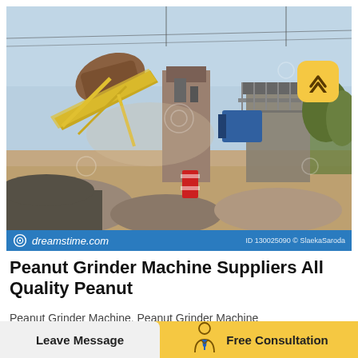[Figure (photo): Industrial crushing/grinding machine facility with yellow conveyor belts, large mechanical equipment, dust clouds, and stockpiles of crushed stone/gravel outdoors on a clear day. Dreamstime watermark overlay visible. ID 130025090 © SlaekaSaroda]
dreamstime.com   ID 130025090 © SlaekaSaroda
Peanut Grinder Machine Suppliers All Quality Peanut
Peanut Grinder Machine, Peanut Grinder Machine
Leave Message
[Figure (illustration): Simple line illustration of a business consultant/person icon]
Free Consultation